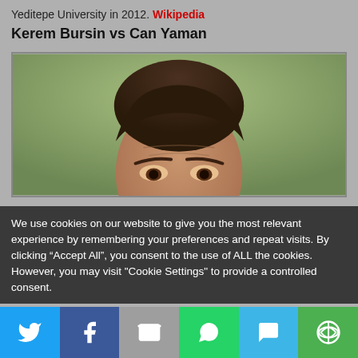Yeditepe University in 2012. Wikipedia
Kerem Bursin vs Can Yaman
[Figure (photo): Close-up photo of a man's face with dark hair, cropped to show forehead and eyes area, with blurred green background]
We use cookies on our website to give you the most relevant experience by remembering your preferences and repeat visits. By clicking “Accept All”, you consent to the use of ALL the cookies. However, you may visit "Cookie Settings" to provide a controlled consent.
[Figure (infographic): Social media share bar with icons for Twitter, Facebook, Email, WhatsApp, SMS, and More options]